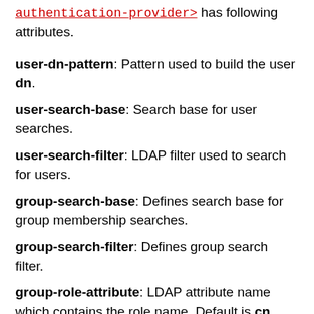<authentication-provider> has following attributes.
user-dn-pattern: Pattern used to build the user dn.
user-search-base: Search base for user searches.
user-search-filter: LDAP filter used to search for users.
group-search-base: Defines search base for group membership searches.
group-search-filter: Defines group search filter.
group-role-attribute: LDAP attribute name which contains the role name. Default is cn.
role-prefix: Defines role prefix, for example